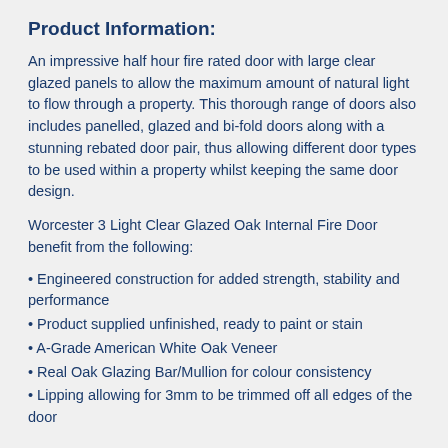Product Information:
An impressive half hour fire rated door with large clear glazed panels to allow the maximum amount of natural light to flow through a property. This thorough range of doors also includes panelled, glazed and bi-fold doors along with a stunning rebated door pair, thus allowing different door types to be used within a property whilst keeping the same door design.
Worcester 3 Light Clear Glazed Oak Internal Fire Door benefit from the following:
Engineered construction for added strength, stability and performance
Product supplied unfinished, ready to paint or stain
A-Grade American White Oak Veneer
Real Oak Glazing Bar/Mullion for colour consistency
Lipping allowing for 3mm to be trimmed off all edges of the door